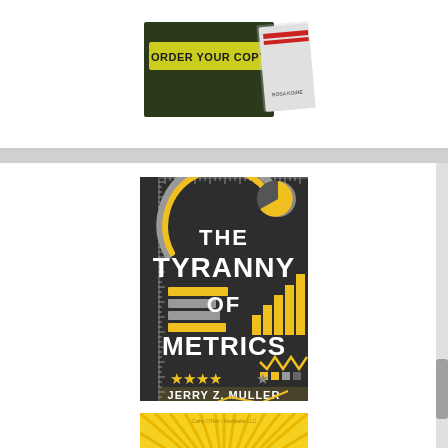[Figure (photo): Book cover showing 'ORDER YOUR COPY' in yellow text on dark background, with another book visible on the right. Appears to be a promotional image.]
[Figure (photo): Book cover of 'The Tyranny of Metrics' by Jerry Z. Muller. Dark charcoal background with bold white and yellow typography. Features decorative graphic elements including a pie chart, bar chart, ruler/measurement markings, horizontal bar chart, star rating row, and a line chart. Five stars shown at bottom of title area.]
[Figure (photo): Partial book cover showing 'WEAPONS OF' text at bottom with yellow sunburst/rays design on yellow background. Top reads 'Cathy O'Neil / Mathbabe LLC'.]